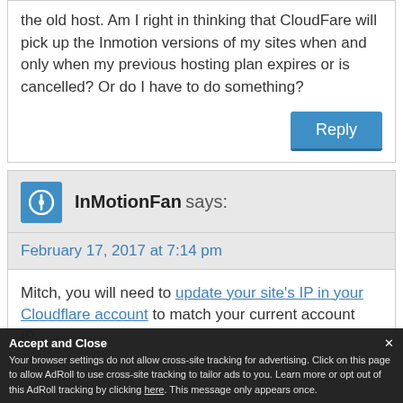the old host. Am I right in thinking that CloudFare will pick up the Inmotion versions of my sites when and only when my previous hosting plan expires or is cancelled? Or do I have to do something?
Reply
InMotionFan says:
February 17, 2017 at 7:14 pm
Mitch, you will need to update your site's IP in your Cloudflare account to match your current account IP...
Accept and Close
Your browser settings do not allow cross-site tracking for advertising. Click on this page to allow AdRoll to use cross-site tracking to tailor ads to you. Learn more or opt out of this AdRoll tracking by clicking here. This message only appears once.